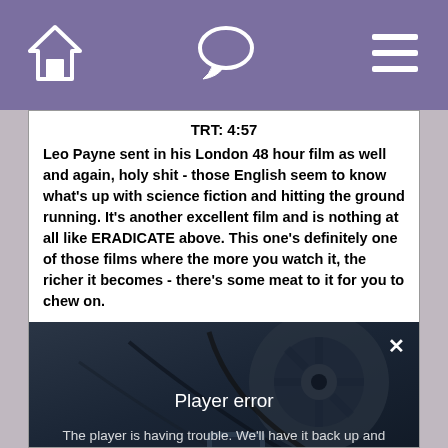Navigation bar with home, chat, and menu icons
TRT: 4:57
Leo Payne sent in his London 48 hour film as well and again, holy shit - those English seem to know what's up with science fiction and hitting the ground running. It's another excellent film and is nothing at all like ERADICATE above. This one's definitely one of those films where the more you watch it, the richer it becomes - there's some meat to it for you to chew on.
[Figure (screenshot): Video player showing a player error screen with dark background showing film reel equipment. Error message reads: Player error / The player is having trouble. We'll have it back up and running as soon as possible.]